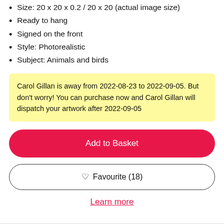Size: 20 x 20 x 0.2 / 20 x 20 (actual image size)
Ready to hang
Signed on the front
Style: Photorealistic
Subject: Animals and birds
Carol Gillan is away from 2022-08-23 to 2022-09-05. But don't worry! You can purchase now and Carol Gillan will dispatch your artwork after 2022-09-05
Add to Basket
Favourite (18)
Learn more